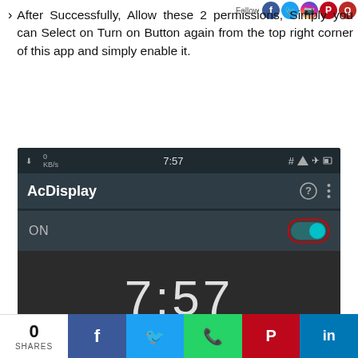After Successfully, Allow these 2 permissions, Simply you can Select on Turn on Button again from the top right corner of this app and simply enable it.
[Figure (screenshot): Android app screenshot showing AcDisplay app with ON toggle switch highlighted in red border, and lock screen showing time 7:57, date Sun October 2, and watermark Tech Trick Seo]